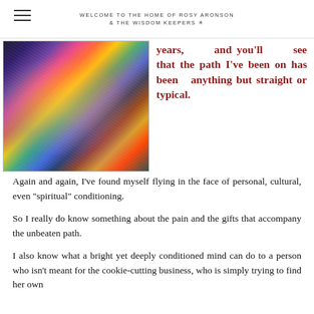WELCOME TO THE HOME OF ROSY ARONSON & THE WISDOM KEEPERS
[Figure (illustration): Colorful expressionist painting of figures dancing or swirling in a vibrant, abstract background with swirling colors of blue, yellow, red, purple, and green.]
years, and you'll see that the path I've been on has been anything but straight or typical.
Again and again, I've found myself flying in the face of personal, cultural, even “spiritual” conditioning.
So I really do know something about the pain and the gifts that accompany the unbeaten path.
I also know what a bright yet deeply conditioned mind can do to a person who isn't meant for the cookie-cutting business, who is simply trying to find her own